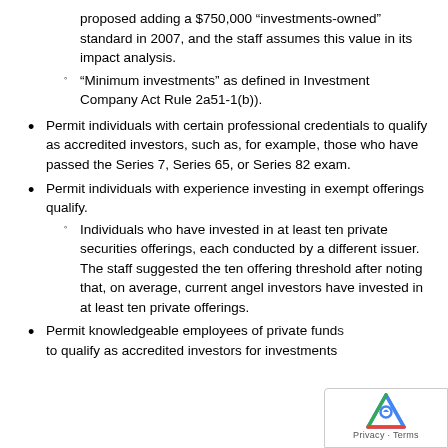proposed adding a $750,000 “investments-owned” standard in 2007, and the staff assumes this value in its impact analysis.
“Minimum investments” as defined in Investment Company Act Rule 2a51-1(b)).
Permit individuals with certain professional credentials to qualify as accredited investors, such as, for example, those who have passed the Series 7, Series 65, or Series 82 exam.
Permit individuals with experience investing in exempt offerings qualify.
Individuals who have invested in at least ten private securities offerings, each conducted by a different issuer. The staff suggested the ten offering threshold after noting that, on average, current angel investors have invested in at least ten private offerings.
Permit knowledgeable employees of private funds to qualify as accredited investors for investments